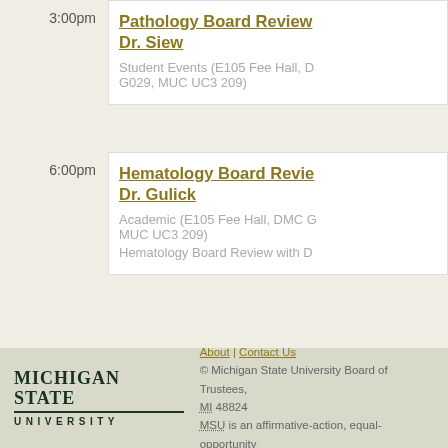3:00pm
Pathology Board Review Dr. Siew
Student Events (E105 Fee Hall, D G029, MUC UC3 209)
6:00pm
Hematology Board Review Dr. Gulick
Academic (E105 Fee Hall, DMC G MUC UC3 209)
Hematology Board Review with D
About | Contact Us
© Michigan State University Board of Trustees, MI 48824
MSU is an affirmative-action, equal-opportunity